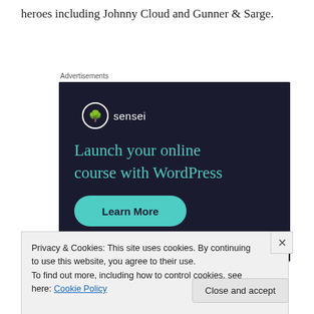heroes including Johnny Cloud and Gunner & Sarge.
Advertisements
[Figure (other): Sensei advertisement with dark navy background. Shows Sensei logo (tree icon in white circle), headline 'Launch your online course with WordPress' in teal, and a teal 'Learn More' button.]
Privacy & Cookies: This site uses cookies. By continuing to use this website, you agree to their use.
To find out more, including how to control cookies, see here: Cookie Policy
Close and accept